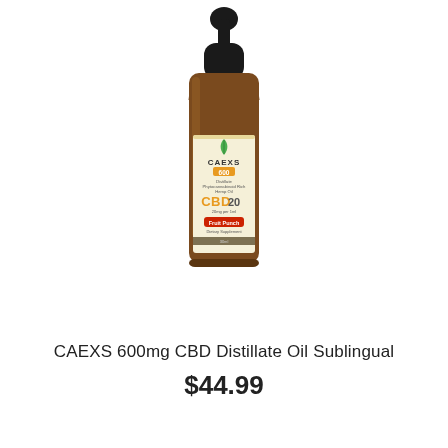[Figure (photo): Product photo of CAEXS 600mg CBD Distillate Oil Sublingual bottle — amber dropper bottle with dropper cap, cream/yellow label showing CAEXS logo with green leaf, '600' in orange badge, text 'Distillate Phytocannabinoid Rich Hemp Oil', 'CBD20', '20mg per 1ml', 'Fruit Punch' in red badge, 'Dietary Supplement 30ml']
CAEXS 600mg CBD Distillate Oil Sublingual
$44.99